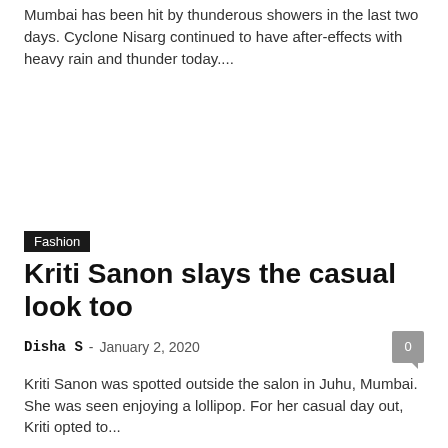Mumbai has been hit by thunderous showers in the last two days. Cyclone Nisarg continued to have after-effects with heavy rain and thunder today....
Fashion
Kriti Sanon slays the casual look too
Disha S  -  January 2, 2020
Kriti Sanon was spotted outside the salon in Juhu, Mumbai. She was seen enjoying a lollipop. For her casual day out, Kriti opted to...